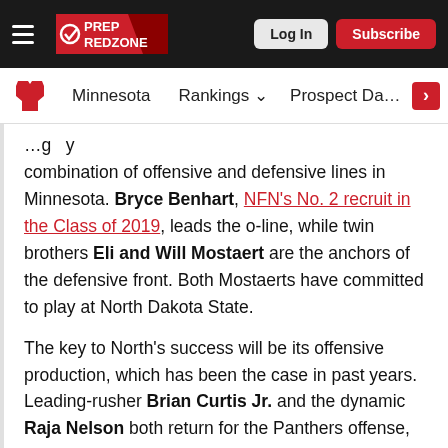Prep Redzone — Log In | Subscribe
Minnesota | Rankings | Prospect Database
combination of offensive and defensive lines in Minnesota. Bryce Benhart, NFN's No. 2 recruit in the Class of 2019, leads the o-line, while twin brothers Eli and Will Mostaert are the anchors of the defensive front. Both Mostaerts have committed to play at North Dakota State.
The key to North's success will be its offensive production, which has been the case in past years. Leading-rusher Brian Curtis Jr. and the dynamic Raja Nelson both return for the Panthers offense, which ended last season with three 40-plus point totals in the final four